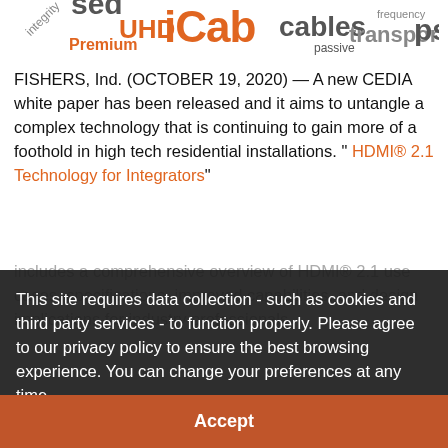[Figure (illustration): Word cloud / logo area at top showing words like 'iCab', 'cables', 'UHD', 'Premium', 'integrity', 'transport', 'passive', 'frequency' in orange, gray, and white on white background]
FISHERS, Ind. (OCTOBER 19, 2020) — A new CEDIA white paper has been released and it aims to untangle a complex technology that is continuing to gain more of a foothold in high tech residential installations. " HDMI® 2.1 Technology for Integrators" includes a comprehensive overview of HDMI® 2.1 use cases, specifications, improved capabilities, and design implications for industry professionals.
This site requires data collection - such as cookies and third party services - to function properly. Please agree to our privacy policy to ensure the best browsing experience. You can change your preferences at any time.
Learn more
Accept